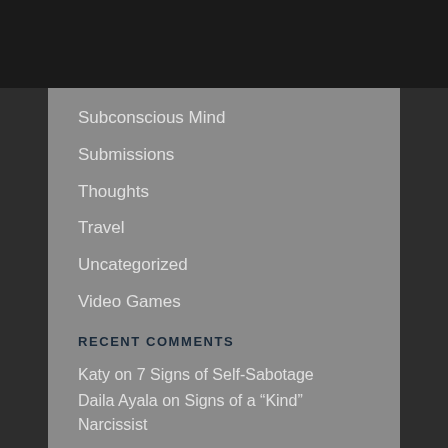Subconscious Mind
Submissions
Thoughts
Travel
Uncategorized
Video Games
Videos
WOW
WTF
RECENT COMMENTS
Katy on 7 Signs of Self-Sabotage
Daila Ayala on Signs of a “Kind” Narcissist